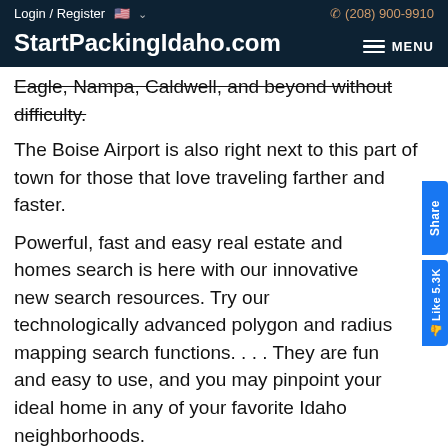Login / Register  🇺🇸 ∨    (208) 900-9910
StartPackingIdaho.com
Eagle, Nampa, Caldwell, and beyond without difficulty. The Boise Airport is also right next to this part of town for those that love traveling farther and faster.
Powerful, fast and easy real estate and homes search is here with our innovative new search resources. Try our technologically advanced polygon and radius mapping search functions. . . . They are fun and easy to use, and you may pinpoint your ideal home in any of your favorite Idaho neighborhoods.
[Figure (illustration): Wheelchair accessibility icon — circular brown/terracotta bordered icon with a person in a wheelchair symbol]
The Harbor Real Estate C...